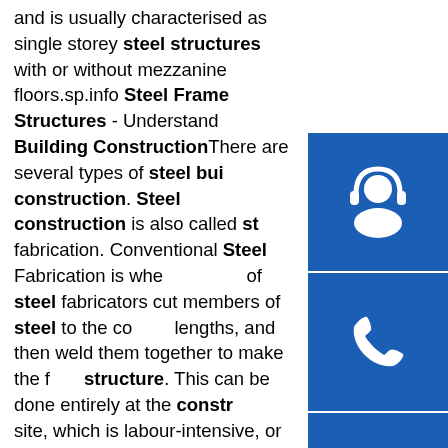and is usually characterised as single storey steel structures with or without mezzanine floors.sp.info Steel Frame Structures - Understand Building ConstructionThere are several types of steel building construction. Steel construction is also called steel fabrication. Conventional Steel Fabrication is when a group of steel fabricators cut members of steel to the correct lengths, and then weld them together to make the final structure. This can be done entirely at the construction site, which is labour-intensive, or partially in a workshop provide ...sp.info B&T Steel, Steel structure design, fabrication and ...B&T Steel specialise in providing clients with a full turnkey approach to structural steel services. We begin each project with exploring your vision, starting with design, moving onto detailing and production of fabrication and then finally the erecting of your steel structure and cladding.sp.info How much Does it Cost to Build a Warehouse? Online Prices ...Pre-engineered building manufacturer will provide features to make
[Figure (illustration): Three blue square icon buttons stacked vertically on the right side: a customer support/headset icon, a phone call icon, and a Skype icon.]